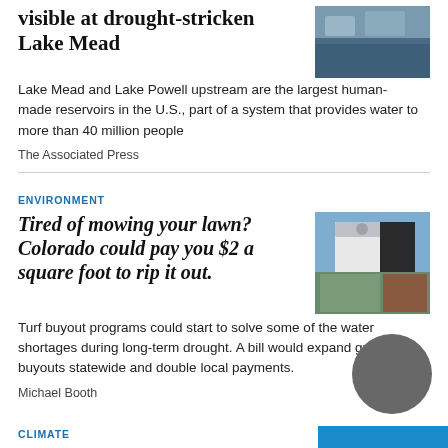visible at drought-stricken Lake Mead
[Figure (photo): Aerial or waterside photo of drought-stricken Lake Mead showing low water levels]
Lake Mead and Lake Powell upstream are the largest human-made reservoirs in the U.S., part of a system that provides water to more than 40 million people
The Associated Press
ENVIRONMENT
Tired of mowing your lawn? Colorado could pay you $2 a square foot to rip it out.
[Figure (photo): Photo of a house with a drought-tolerant landscaped yard replacing a lawn]
Turf buyout programs could start to solve some of the water shortages during long-term drought. A bill would expand grass buyouts statewide and double local payments.
Michael Booth
CLIMATE